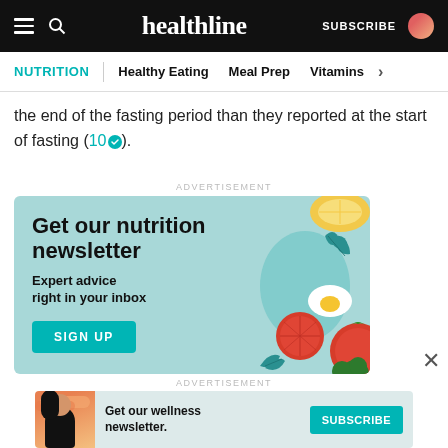healthline | SUBSCRIBE
NUTRITION | Healthy Eating | Meal Prep | Vitamins >
the end of the fasting period than they reported at the start of fasting (10).
[Figure (illustration): Advertisement banner: Get our nutrition newsletter. Expert advice right in your inbox. SIGN UP button. Illustrated food items (lemon, greens, egg, tomatoes).]
[Figure (illustration): Bottom advertisement banner: Get our wellness newsletter. SUBSCRIBE button. Illustrated woman figure.]